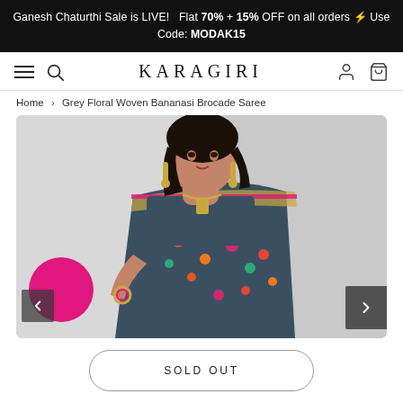Ganesh Chaturthi Sale is LIVE!  Flat 70% + 15% OFF on all orders ⚡ Use Code: MODAK15
[Figure (screenshot): Karagiri website navigation bar with hamburger menu, search icon, KARAGIRI brand name, user account icon, and cart icon]
Home > Grey Floral Woven Bananasi Brocade Saree
[Figure (photo): Woman wearing a grey floral woven Banarasi brocade saree with colorful floral embroidery, gold jewelry, posing against a white textured wall]
SOLD OUT